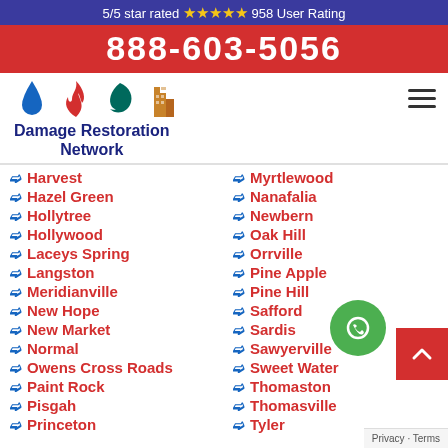5/5 star rated ⭐⭐⭐⭐⭐ 958 User Rating
888-603-5056
[Figure (logo): Damage Restoration Network logo with water drop, flame, hurricane, and building icons]
Harvest
Hazel Green
Hollytree
Hollywood
Laceys Spring
Langston
Meridianville
New Hope
New Market
Normal
Owens Cross Roads
Paint Rock
Pisgah
Princeton
Myrtlewood
Nanafalia
Newbern
Oak Hill
Orrville
Pine Apple
Pine Hill
Safford
Sardis
Sawyerville
Sweet Water
Thomaston
Thomasville
Tyler